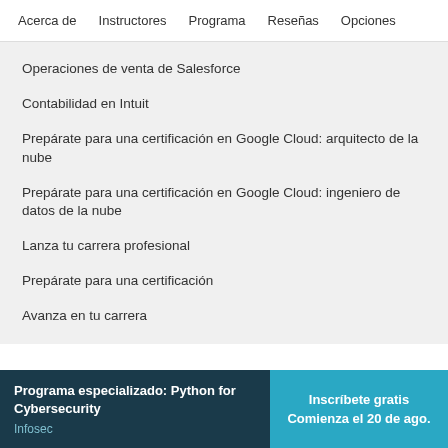Acerca de   Instructores   Programa   Reseñas   Opciones
Operaciones de venta de Salesforce
Contabilidad en Intuit
Prepárate para una certificación en Google Cloud: arquitecto de la nube
Prepárate para una certificación en Google Cloud: ingeniero de datos de la nube
Lanza tu carrera profesional
Prepárate para una certificación
Avanza en tu carrera
Programa especializado: Python for Cybersecurity
Infosec
Inscríbete gratis
Comienza el 20 de ago.